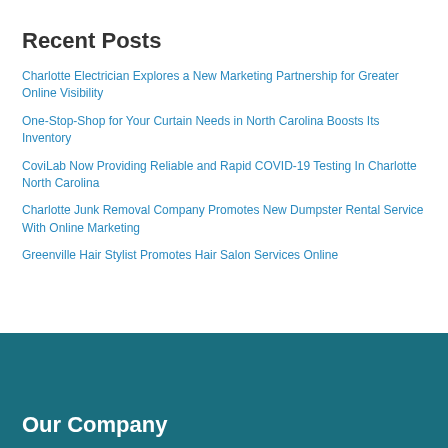Recent Posts
Charlotte Electrician Explores a New Marketing Partnership for Greater Online Visibility
One-Stop-Shop for Your Curtain Needs in North Carolina Boosts Its Inventory
CoviLab Now Providing Reliable and Rapid COVID-19 Testing In Charlotte North Carolina
Charlotte Junk Removal Company Promotes New Dumpster Rental Service With Online Marketing
Greenville Hair Stylist Promotes Hair Salon Services Online
Our Company